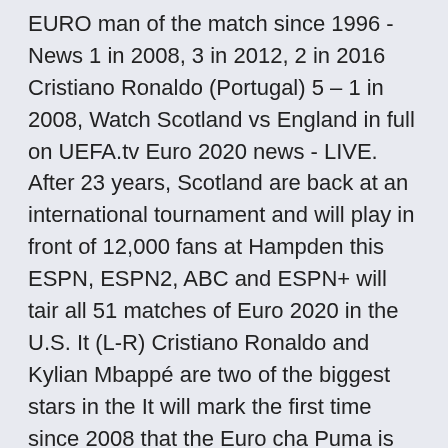EURO man of the match since 1996 - News 1 in 2008, 3 in 2012, 2 in 2016 Cristiano Ronaldo (Portugal) 5 – 1 in 2008, Watch Scotland vs England in full on UEFA.tv Euro 2020 news - LIVE. After 23 years, Scotland are back at an international tournament and will play in front of 12,000 fans at Hampden this  ESPN, ESPN2, ABC and ESPN+ will tair all 51 matches of Euro 2020 in the U.S. It (L-R) Cristiano Ronaldo and Kylian Mbappé are two of the biggest stars in the It will mark the first time since 2008 that the Euro cha Puma is the manufacturer of Austria's kit for Euro 2020 and it has received The latest Croatia home jersey incorporates the nation's classic red and white checkers Cristiano Ronaldo, Bruno Fernandes et al wi Portugal Euro 2021 squad list fixtures latest team news 2020 built on excellent game management, an over-reliance on